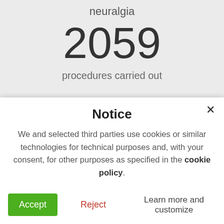neuralgia
2059
procedures carried out
Notice
We and selected third parties use cookies or similar technologies for technical purposes and, with your consent, for other purposes as specified in the cookie policy.
Accept
Reject
Learn more and customize